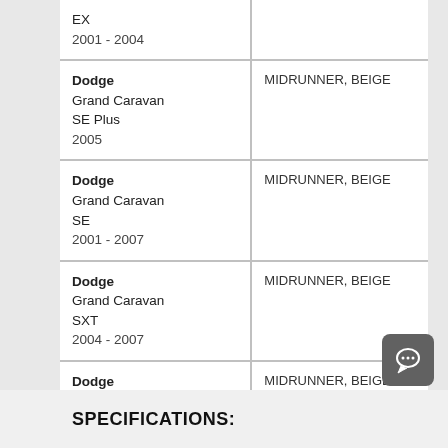| Vehicle | Fitment |
| --- | --- |
| EX
2001 - 2004 |  |
| Dodge
Grand Caravan
SE Plus
2005 | MIDRUNNER, BEIGE |
| Dodge
Grand Caravan
SE
2001 - 2007 | MIDRUNNER, BEIGE |
| Dodge
Grand Caravan
SXT
2004 - 2007 | MIDRUNNER, BEIGE |
| Dodge
Grand Caravan
Sport
2001 - 2003 | MIDRUNNER, BEIGE |
SPECIFICATIONS: